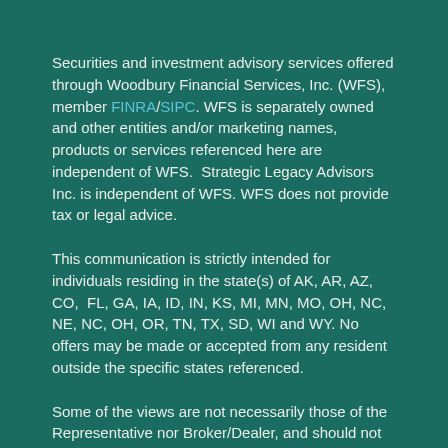Securities and investment advisory services offered through Woodbury Financial Services, Inc. (WFS), member FINRA/SIPC. WFS is separately owned and other entities and/or marketing names, products or services referenced here are independent of WFS.  Strategic Legacy Advisors Inc. is independent of WFS. WFS does not provide tax or legal advice.
This communication is strictly intended for individuals residing in the state(s) of AK, AR, AZ, CO,  FL, GA, IA, ID, IN, KS, MI, MN, MO, OH, NC, NE, NC, OH, OR, TN, TX, SD, WI and WY. No offers may be made or accepted from any resident outside the specific states referenced.
Some of the views are not necessarily those of the Representative nor Broker/Dealer, and should not be construed as investment advice. Neither the named Representative nor Broker/Dealer gives tax or legal advice. All information is believed to be from reliable sources; however, we make no representation as to its completeness or accuracy. The